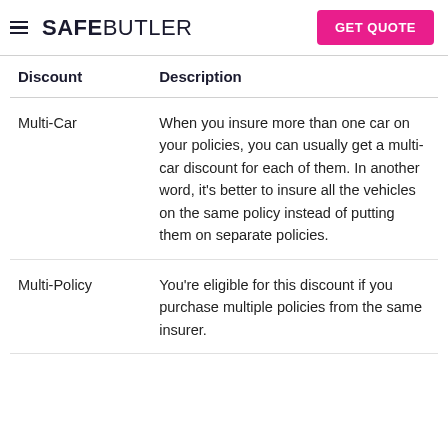SAFEBUTLER  GET QUOTE
| Discount | Description |
| --- | --- |
| Multi-Car | When you insure more than one car on your policies, you can usually get a multi-car discount for each of them. In another word, it's better to insure all the vehicles on the same policy instead of putting them on separate policies. |
| Multi-Policy | You're eligible for this discount if you purchase multiple policies from the same insurer. |